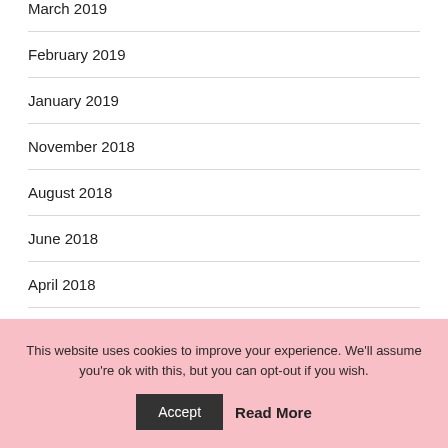March 2019
February 2019
January 2019
November 2018
August 2018
June 2018
April 2018
March 2018
February 2018
This website uses cookies to improve your experience. We'll assume you're ok with this, but you can opt-out if you wish. Accept Read More